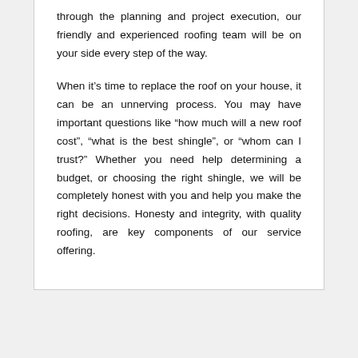through the planning and project execution, our friendly and experienced roofing team will be on your side every step of the way.
When it’s time to replace the roof on your house, it can be an unnerving process. You may have important questions like “how much will a new roof cost”, “what is the best shingle”, or “whom can I trust?” Whether you need help determining a budget, or choosing the right shingle, we will be completely honest with you and help you make the right decisions. Honesty and integrity, with quality roofing, are key components of our service offering.